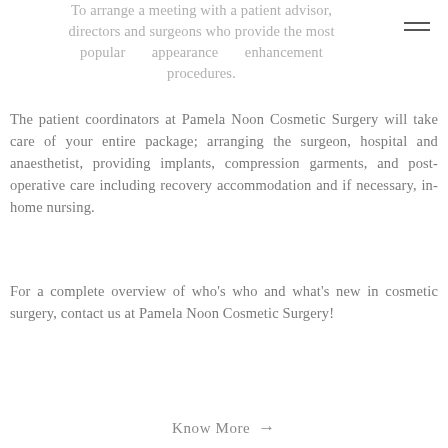To arrange a meeting with a patient advisor, directors and surgeons who provide the most popular appearance enhancement procedures.
The patient coordinators at Pamela Noon Cosmetic Surgery will take care of your entire package; arranging the surgeon, hospital and anaesthetist, providing implants, compression garments, and post-operative care including recovery accommodation and if necessary, in-home nursing.
For a complete overview of who's who and what's new in cosmetic surgery, contact us at Pamela Noon Cosmetic Surgery!
Know More →